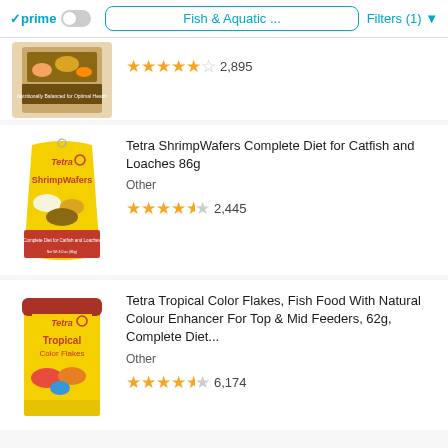prime | Fish & Aquatic ... | Filters (1)
[Figure (photo): Partial view of a fish food product container (canister) with colorful fish imagery]
2,895
[Figure (photo): Tetra ShrimpWafers Complete Diet for Catfish and Loaches 86g bag product image]
Tetra ShrimpWafers Complete Diet for Catfish and Loaches 86g
Other
2,445
[Figure (photo): Tetra Tropical Color Flakes fish food canister product image]
Tetra Tropical Color Flakes, Fish Food With Natural Colour Enhancer For Top & Mid Feeders, 62g, Complete Diet...
Other
6,174